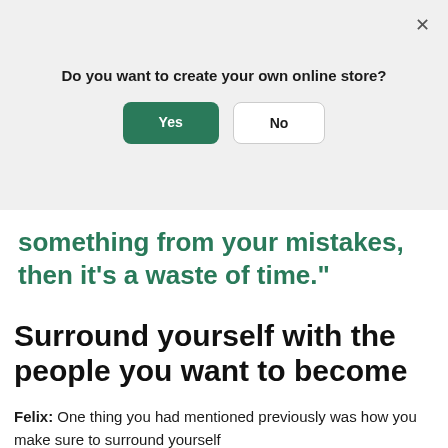[Figure (screenshot): Modal dialog overlay with question 'Do you want to create your own online store?' and Yes/No buttons, with a close X button in top right]
something from your mistakes, then it's a waste of time."
Surround yourself with the people you want to become
Felix: One thing you had mentioned previously was how you make sure to surround yourself